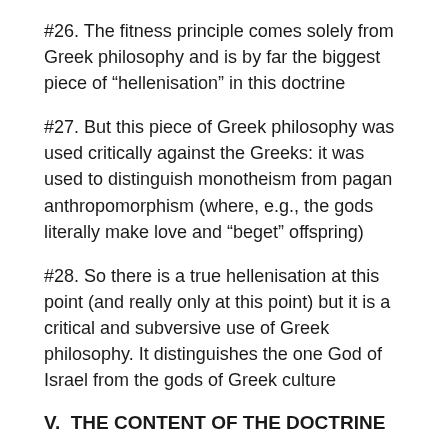#26. The fitness principle comes solely from Greek philosophy and is by far the biggest piece of “hellenisation” in this doctrine
#27. But this piece of Greek philosophy was used critically against the Greeks: it was used to distinguish monotheism from pagan anthropomorphism (where, e.g., the gods literally make love and “beget” offspring)
#28. So there is a true hellenisation at this point (and really only at this point) but it is a critical and subversive use of Greek philosophy. It distinguishes the one God of Israel from the gods of Greek culture
V.  THE CONTENT OF THE DOCTRINE
#29. The ingredients of the doctrine, supplied by